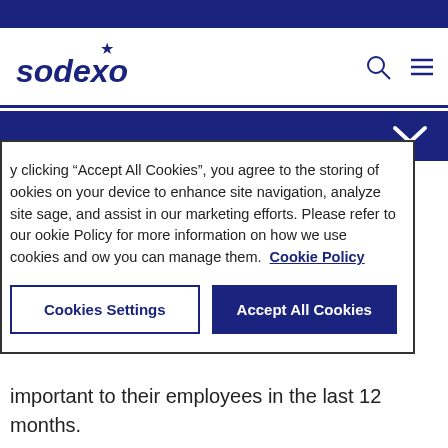Sodexo
By clicking “Accept All Cookies”, you agree to the storing of cookies on your device to enhance site navigation, analyze site usage, and assist in our marketing efforts. Please refer to our Cookie Policy for more information on how we use cookies and how you can manage them. Cookie Policy
important to their employees in the last 12 months.
More than 15% of companies, meanwhile, plan to invest more in localized production to safeguard their business against future risks, according to Euromonitor research. A PwC